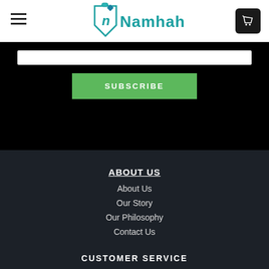Namhah
[Figure (logo): Namhah brand logo with teal tag icon and text]
SUBSCRIBE
ABOUT US
About Us
Our Story
Our Philosophy
Contact Us
CUSTOMER SERVICE